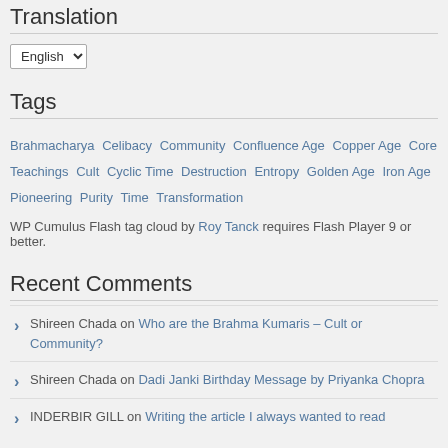Translation
English (select dropdown)
Tags
Brahmacharya  Celibacy  Community  Confluence Age  Copper Age  Core Teachings  Cult  Cyclic Time  Destruction  Entropy  Golden Age  Iron Age  Pioneering  Purity  Time  Transformation
WP Cumulus Flash tag cloud by Roy Tanck requires Flash Player 9 or better.
Recent Comments
Shireen Chada on Who are the Brahma Kumaris – Cult or Community?
Shireen Chada on Dadi Janki Birthday Message by Priyanka Chopra
INDERBIR GILL on Writing the article I always wanted to read